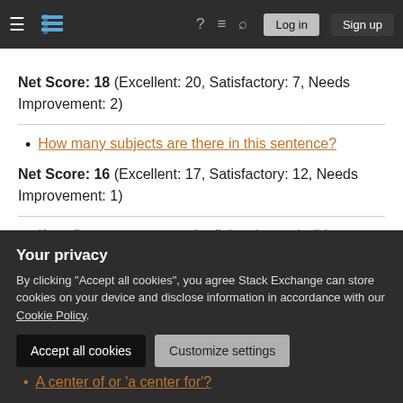Stack Exchange navigation bar with hamburger menu, logo, help, chat, search, Log in, Sign up
Net Score: 18 (Excellent: 20, Satisfactory: 7, Needs Improvement: 2)
How many subjects are there in this sentence?
Net Score: 16 (Excellent: 17, Satisfactory: 12, Needs Improvement: 1)
If my fingers were stung by fish spines, shall I describe it as "I got hurt" or "I got injured" or
Your privacy
By clicking "Accept all cookies", you agree Stack Exchange can store cookies on your device and disclose information in accordance with our Cookie Policy.
A center of or 'a center for'?